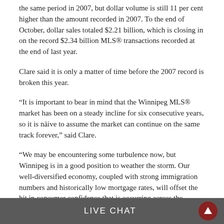the same period in 2007, but dollar volume is still 11 per cent higher than the amount recorded in 2007. To the end of October, dollar sales totaled $2.21 billion, which is closing in on the record $2.34 billion MLS® transactions recorded at the end of last year.
Clare said it is only a matter of time before the 2007 record is broken this year.
“It is important to bear in mind that the Winnipeg MLS® market has been on a steady incline for six consecutive years, so it is näive to assume the market can continue on the same track forever,” said Clare.
“We may be encountering some turbulence now, but Winnipeg is in a good position to weather the storm. Our well-diversified economy, coupled with strong immigration numbers and historically low mortgage rates, will offset the hit in consumer confidence that is occurring across the country.
“Winnip…